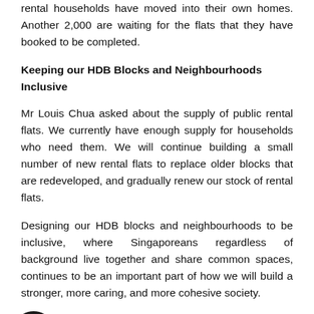rental households have moved into their own homes. Another 2,000 are waiting for the flats that they have booked to be completed.
Keeping our HDB Blocks and Neighbourhoods Inclusive
Mr Louis Chua asked about the supply of public rental flats. We currently have enough supply for households who need them. We will continue building a small number of new rental flats to replace older blocks that are redeveloped, and gradually renew our stock of rental flats.
Designing our HDB blocks and neighbourhoods to be inclusive, where Singaporeans regardless of background live together and share common spaces, continues to be an important part of how we will build a stronger, more caring, and more cohesive society.
[Figure (illustration): Smiley face emoji icon — yellow circle with black border and simple smiley face]
ore, we will integrate new rental flats that HDB builds with sold flats in the same BTO projects, including in prime